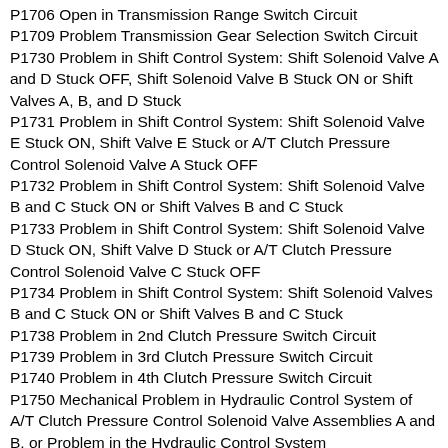P1706 Open in Transmission Range Switch Circuit
P1709 Problem Transmission Gear Selection Switch Circuit
P1730 Problem in Shift Control System: Shift Solenoid Valve A and D Stuck OFF, Shift Solenoid Valve B Stuck ON or Shift Valves A, B, and D Stuck
P1731 Problem in Shift Control System: Shift Solenoid Valve E Stuck ON, Shift Valve E Stuck or A/T Clutch Pressure Control Solenoid Valve A Stuck OFF
P1732 Problem in Shift Control System: Shift Solenoid Valve B and C Stuck ON or Shift Valves B and C Stuck
P1733 Problem in Shift Control System: Shift Solenoid Valve D Stuck ON, Shift Valve D Stuck or A/T Clutch Pressure Control Solenoid Valve C Stuck OFF
P1734 Problem in Shift Control System: Shift Solenoid Valves B and C Stuck ON or Shift Valves B and C Stuck
P1738 Problem in 2nd Clutch Pressure Switch Circuit
P1739 Problem in 3rd Clutch Pressure Switch Circuit
P1740 Problem in 4th Clutch Pressure Switch Circuit
P1750 Mechanical Problem in Hydraulic Control System of A/T Clutch Pressure Control Solenoid Valve Assemblies A and B, or Problem in the Hydraulic Control System